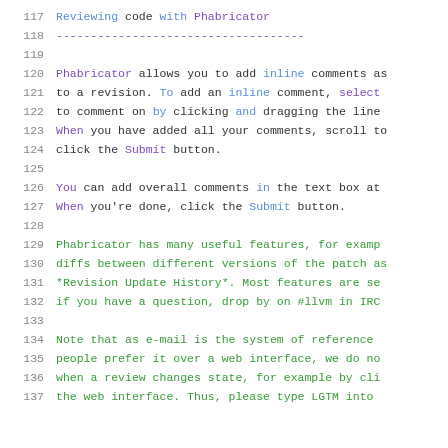117  Reviewing code with Phabricator
118  ------------------------------------
119
120  Phabricator allows you to add inline comments as
121  to a revision. To add an inline comment, select
122  to comment on by clicking and dragging the line
123  When you have added all your comments, scroll to
124  click the Submit button.
125
126  You can add overall comments in the text box at
127  When you're done, click the Submit button.
128
129  Phabricator has many useful features, for examp
130  diffs between different versions of the patch as
131  *Revision Update History*. Most features are se
132  if you have a question, drop by on #llvm in IRC
133
134  Note that as e-mail is the system of reference
135  people prefer it over a web interface, we do no
136  when a review changes state, for example by cli
137  the web interface. Thus, please type LGTM into